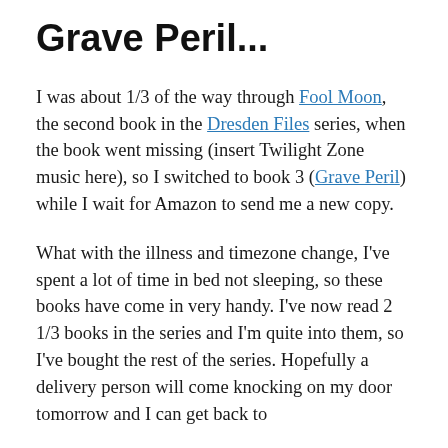Grave Peril...
I was about 1/3 of the way through Fool Moon, the second book in the Dresden Files series, when the book went missing (insert Twilight Zone music here), so I switched to book 3 (Grave Peril) while I wait for Amazon to send me a new copy.
What with the illness and timezone change, I've spent a lot of time in bed not sleeping, so these books have come in very handy. I've now read 2 1/3 books in the series and I'm quite into them, so I've bought the rest of the series. Hopefully a delivery person will come knocking on my door tomorrow and I can get back to